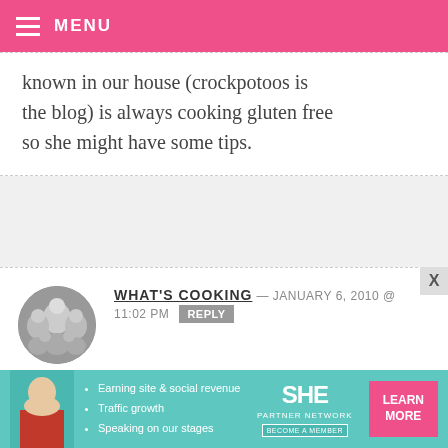MENU
known in our house (crockpotoos is the blog) is always cooking gluten free so she might have some tips.
WHAT'S COOKING — JANUARY 6, 2010 @ 11:02 PM  REPLY
Boise, Idaho =0)
LAUREN — JANUARY 6, 2010 @ 11:01 PM  REPLY
Thank...